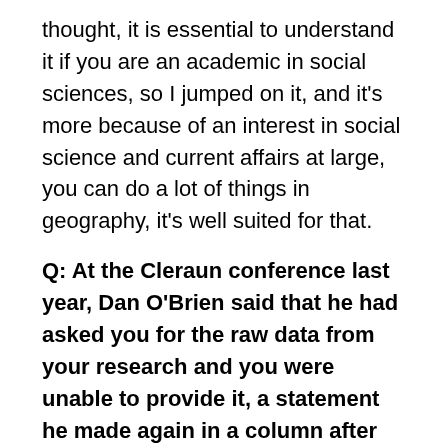thought, it is essential to understand it if you are an academic in social sciences, so I jumped on it, and it's more because of an interest in social science and current affairs at large, you can do a lot of things in geography, it's well suited for that.
Q: At the Cleraun conference last year, Dan O'Brien said that he had asked you for the raw data from your research and you were unable to provide it, a statement he made again in a column after your appearance before the Oireachtas.
A: Yeah, Dan O'Brien, he asked me for my data and I told him I don't have the data he is referring to, the study he is interested in is the media in the